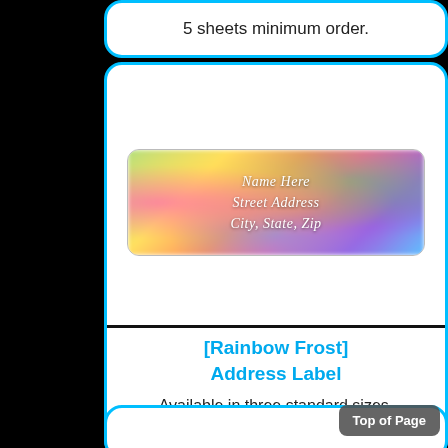5 sheets minimum order.
[Figure (illustration): Address label with rainbow frost floral background showing placeholder text: Name Here, Street Address, City, State, Zip in white italic script]
[Rainbow Frost] Address Label
Available in three standard sizes.
5 sheets minimum order.